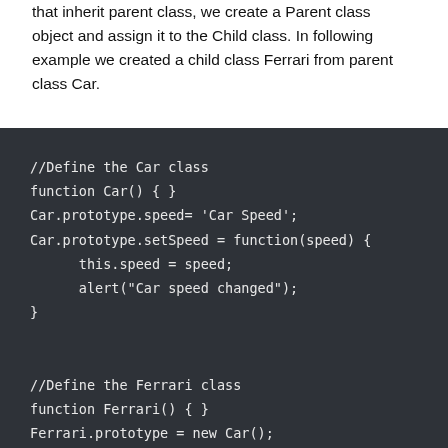that inherit parent class, we create a Parent class object and assign it to the Child class. In following example we created a child class Ferrari from parent class Car.
[Figure (screenshot): Dark-themed code block showing JavaScript code defining Car class with prototype properties and setSpeed method, then defining Ferrari class inheriting from Car via prototype assignment, and correcting the constructor pointer. The code is partially cut off at the bottom.]